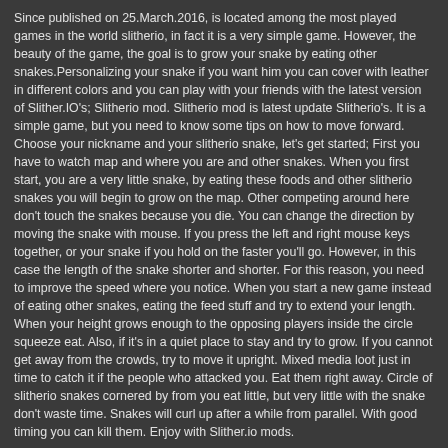Since published on 25.March.2016, is located among the most played games in the world slitherio, in fact it is a very simple game. However, the beauty of the game, the goal is to grow your snake by eating other snakes.Personalizing your snake if you want him you can cover with leather in different colors and you can play with your friends with the latest version of Slither.IO's; Slitherio mod. Slitherio mod is latest update Slitherio's. It is a simple game, but you need to know some tips on how to move forward. Choose your nickname and your slitherio snake, let's get started; First you have to watch map and where you are and other snakes. When you first start, you are a very little snake, by eating these foods and other slitherio snakes you will begin to grow on the map. Other competing around here don't touch the snakes because you die. You can change the direction by moving the snake with mouse. If you press the left and right mouse keys together, or your snake if you hold on the faster you'll go. However, in this case the length of the snake shorter and shorter. For this reason, you need to improve the speed where you notice. When you start a new game instead of eating other snakes, eating the feed stuff and try to extend your length. When your height grows enough to the opposing players inside the circle squeeze eat. Also, if it's in a quiet place to stay and try to grow. If you cannot get away from the crowds, try to move it upright. Mixed media loot just in time to catch it if the people who attacked you. Eat them right away. Circle of slitherio snakes cornered by from you eat little, but very little with the snake don't waste time. Snakes will curl up after a while from parallel. With good timing you can kill them. Enjoy with Slither.io mods.
SLITHER.IO SKINS
Like another popular game which name is Agar.IO, same game producer Thorntree Studios intended a new game Slither.IO and it is in aspect...